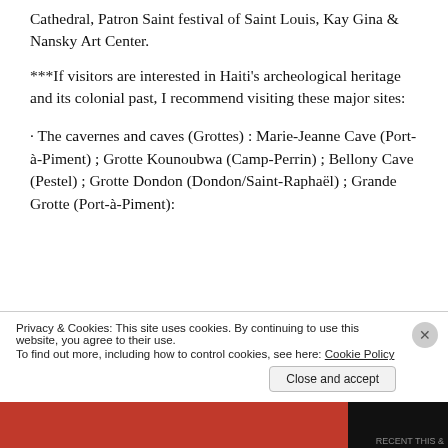Cathedral, Patron Saint festival of Saint Louis, Kay Gina & Nansky Art Center.
***If visitors are interested in Haiti's archeological heritage and its colonial past, I recommend visiting these major sites:
· The cavernes and caves (Grottes) : Marie-Jeanne Cave (Port-à-Piment) ; Grotte Kounoubwa (Camp-Perrin) ; Bellony Cave (Pestel) ; Grotte Dondon (Dondon/Saint-Raphaël) ; Grande Grotte (Port-à-Piment):
Privacy & Cookies: This site uses cookies. By continuing to use this website, you agree to their use. To find out more, including how to control cookies, see here: Cookie Policy
Close and accept